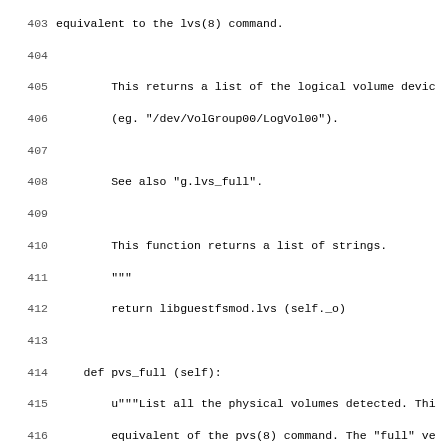Code listing showing Python methods for libguestfs module: lines 403-435, including pvs_full, vgs_full, and lvs_full function definitions with docstrings and return statements.